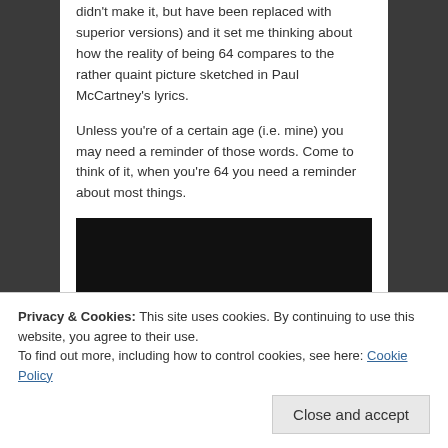didn't make it, but have been replaced with superior versions) and it set me thinking about how the reality of being 64 compares to the rather quaint picture sketched in Paul McCartney's lyrics.
Unless you're of a certain age (i.e. mine) you may need a reminder of those words. Come to think of it, when you're 64 you need a reminder about most things.
[Figure (other): Black video embed placeholder]
Privacy & Cookies: This site uses cookies. By continuing to use this website, you agree to their use.
To find out more, including how to control cookies, see here: Cookie Policy